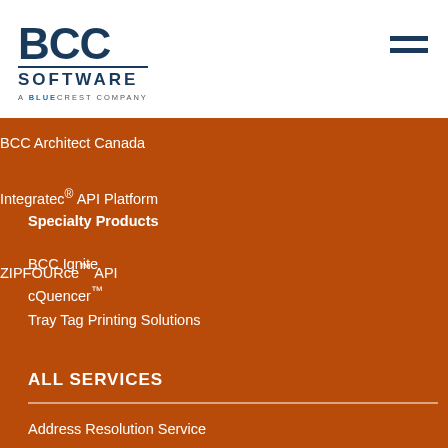[Figure (logo): BCC Software logo - A BlueCrest Company]
BCC Architect Canada
Integratec® API Platform
ZIPFOURce™ API
Specialty Products
BCC Ignite
cQuencer™
Tray Tag Printing Solutions
ALL SERVICES
Address Resolution Service
COMPLIANCE+™
DPV Processing™